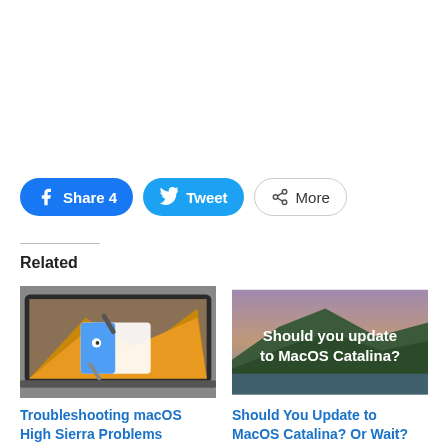[Figure (other): Social share buttons: Facebook Share 4, Twitter Tweet, More]
Related
[Figure (screenshot): Thumbnail image of a MacBook laptop with Finder icon and tools, representing Troubleshooting macOS High Sierra Problems article]
[Figure (photo): Thumbnail image with mountain/landscape and text 'Should you update to MacOS Catalina?' representing related article]
Troubleshooting macOS High Sierra Problems
Should You Update to MacOS Catalina? Or Wait?